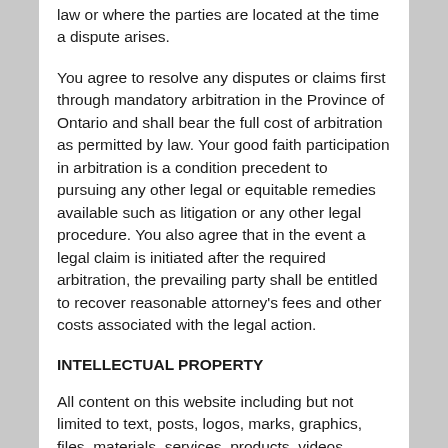law or where the parties are located at the time a dispute arises.
You agree to resolve any disputes or claims first through mandatory arbitration in the Province of Ontario and shall bear the full cost of arbitration as permitted by law. Your good faith participation in arbitration is a condition precedent to pursuing any other legal or equitable remedies available such as litigation or any other legal procedure. You also agree that in the event a legal claim is initiated after the required arbitration, the prevailing party shall be entitled to recover reasonable attorney's fees and other costs associated with the legal action.
INTELLECTUAL PROPERTY
All content on this website including but not limited to text, posts, logos, marks, graphics, files, materials, services, products, videos, audio, applications, computer code, designs, downloads